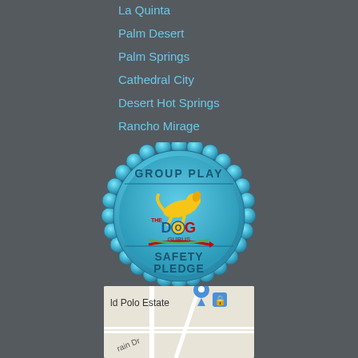La Quinta
Palm Desert
Palm Springs
Cathedral City
Desert Hot Springs
Rancho Mirage
[Figure (logo): The Dog Gurus Group Play Safety Pledge badge — a blue scalloped circular seal with 'GROUP PLAY' at top, The Dog Gurus logo in center, and 'SAFETY PLEDGE' at bottom]
[Figure (map): Map screenshot showing 'Id Polo Estate' location pin and partial street label 'rain Dr']